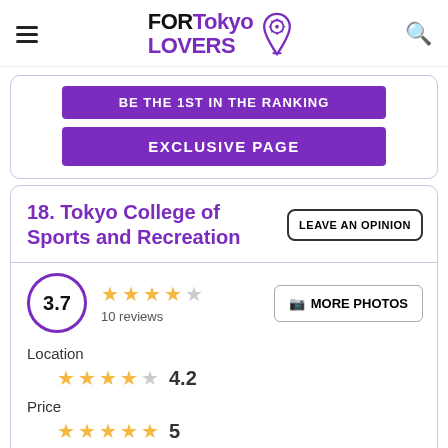FORTokyo LOVERS
BE THE 1ST IN THE RANKING
EXCLUSIVE PAGE
18. Tokyo College of Sports and Recreation
LEAVE AN OPINION
3.7 — 10 reviews — MORE PHOTOS
Location
★★★★☆ 4.2
Price
★★★★★ 5
Classes